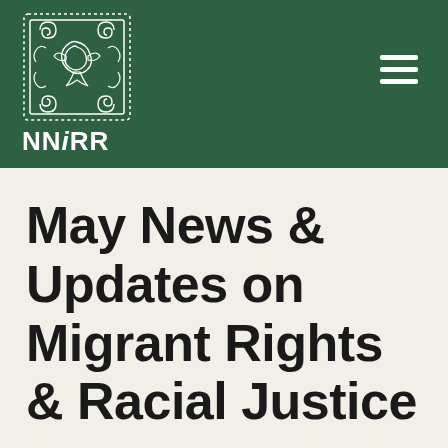[Figure (logo): NNiRR logo: decorative square emblem with intricate patterns and text 'NNiRR' below, on dark green header background]
May News & Updates on Migrant Rights & Racial Justice
May 26, 2021